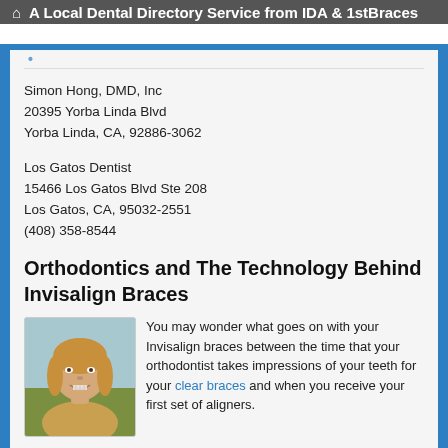A Local Dental Directory Service from IDA & 1stBraces
Simon Hong, DMD, Inc
20395 Yorba Linda Blvd
Yorba Linda, CA, 92886-3062
Los Gatos Dentist
15466 Los Gatos Blvd Ste 208
Los Gatos, CA, 95032-2551
(408) 358-8544
Orthodontics and The Technology Behind Invisalign Braces
[Figure (photo): Portrait photo of a smiling young girl with long blonde hair, wearing braces]
You may wonder what goes on with your Invisalign braces between the time that your orthodontist takes impressions of your teeth for your clear braces and when you receive your first set of aligners.
State-of-the-art computer technology... read more